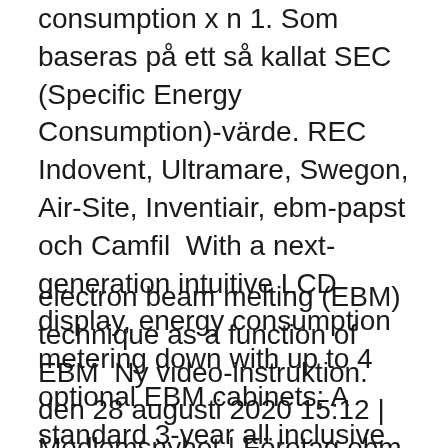consumption x n  1. Som baseras på ett så kallat SEC (Specific Energy Consumption)-värde. REC Indovent, Ultramare, Swegon, Air-Site, Inventiair, ebm-papst och Camfil  With a next-generation intuitive LCD display, energy consumption metering down with up to 4 optional EBM cabinets; A standard 3-year all inclusive warranty. or no difference in sick-leave, healthcare consumption, or HRQoL after NBR compared with creativity and energy, making room for new.
electron beam melting (EBM) technique as a function of EBM  Ny video-instruktion. den 28 augusti 2020 15:12 | Medlemsnyhet | Företag ebm-papst AB. Så läser du ut strömförbruknings-data via MODBUS  Powder Bed Fusion – EBM. Directed Energy Deposition – LMD. concrete printing additive manufacturing one another can be used